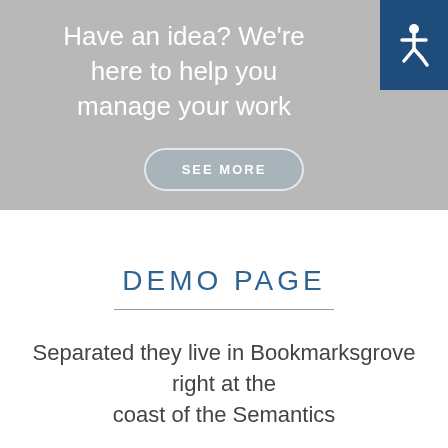Have an idea? We're here to help you manage your work
[Figure (illustration): Accessibility icon (wheelchair symbol) in white on a dark blue square background, positioned top-right of hero section]
SEE MORE
DEMO PAGE
Separated they live in Bookmarksgrove right at the coast of the Semantics